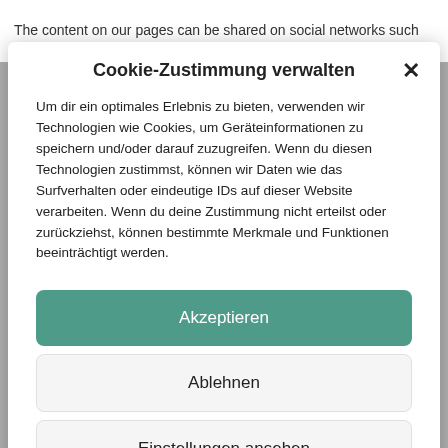The content on our pages can be shared on social networks such
Cookie-Zustimmung verwalten
Um dir ein optimales Erlebnis zu bieten, verwenden wir Technologien wie Cookies, um Geräteinformationen zu speichern und/oder darauf zuzugreifen. Wenn du diesen Technologien zustimmst, können wir Daten wie das Surfverhalten oder eindeutige IDs auf dieser Website verarbeiten. Wenn du deine Zustimmung nicht erteilst oder zurückziehst, können bestimmte Merkmale und Funktionen beeinträchtigt werden.
Akzeptieren
Ablehnen
Einstellungen ansehen
Data protection  imprint